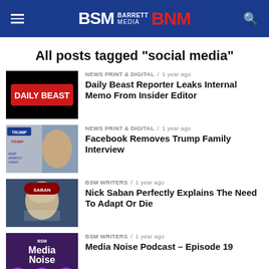BSM BARRETT MEDIA BNM
All posts tagged "social media"
NEWS PRINT & DIGITAL / 1 year ago — Daily Beast Reporter Leaks Internal Memo From Insider Editor
NEWS PRINT & DIGITAL / 1 year ago — Facebook Removes Trump Family Interview
BSM WRITERS / 1 year ago — Nick Saban Perfectly Explains The Need To Adapt Or Die
BSM WRITERS / 1 year ago — Media Noise Podcast – Episode 19
BSM WRITERS / 1 year ago — Does Radio Still Think Radio Is Special?